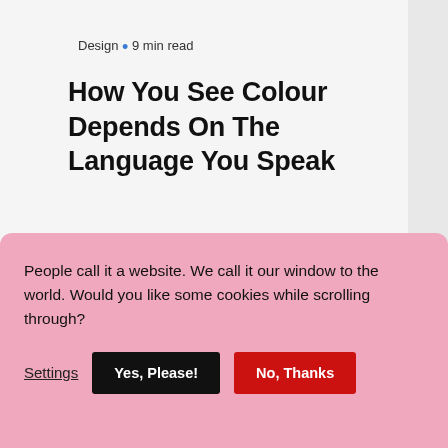Design · 9 min read
How You See Colour Depends On The Language You Speak
People call it a website. We call it our window to the world. Would you like some cookies while scrolling through?
Settings  Yes, Please!  No, Thanks